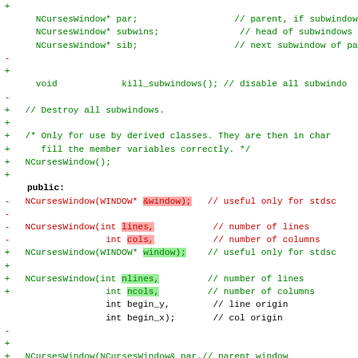[Figure (screenshot): Code diff showing C++ NCursesWindow class header file with added and removed lines highlighted in green and red respectively. Shows member variables, constructors, and public section.]